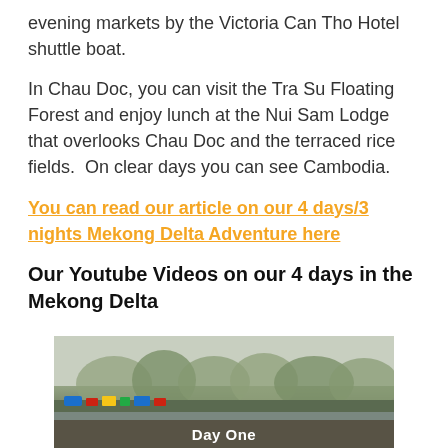evening markets by the Victoria Can Tho Hotel shuttle boat.
In Chau Doc, you can visit the Tra Su Floating Forest and enjoy lunch at the Nui Sam Lodge that overlooks Chau Doc and the terraced rice fields.  On clear days you can see Cambodia.
You can read our article on our 4 days/3 nights Mekong Delta Adventure here
Our Youtube Videos on our 4 days in the Mekong Delta
[Figure (photo): A river scene photo with trees, boats and colorful decorations along the waterway. Text overlay reads 'Day One' at the bottom center.]